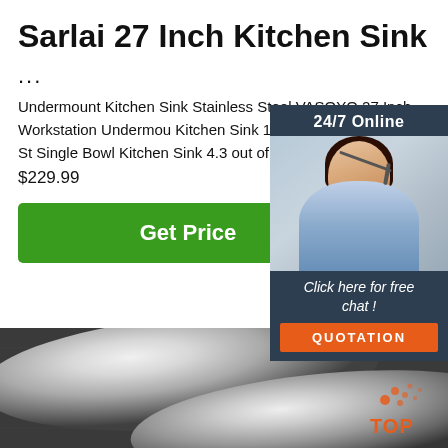Sarlai 27 Inch Kitchen Sink
...
Undermount Kitchen Sink Stainless Steel VASOYO 27 Inch Workstation Undermount Kitchen Sink 16 Gauge 304 Stainless Steel Single Bowl Kitchen Sink 4.3 out of 5 stars $229.99
[Figure (illustration): Green 'Get Price' button]
[Figure (photo): Customer service representative with headset, 24/7 Online chat panel with 'Click here for free chat!' text and orange QUOTATION button]
[Figure (photo): Stainless steel rods/cylinders on dark background, with TOP logo in orange in bottom right corner]